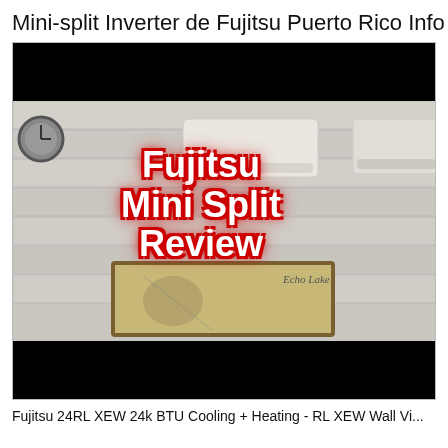Mini-split Inverter de Fujitsu Puerto Rico Info
[Figure (screenshot): Video thumbnail showing a Fujitsu mini-split air conditioner mounted on a white shiplap wall with bold red text overlay reading 'Fujitsu Mini Split Review' and an Echo Lake artwork visible in the background.]
Fujitsu 24RL XEW 24k BTU Cooling + Heating - RL XEW Wall Vi...